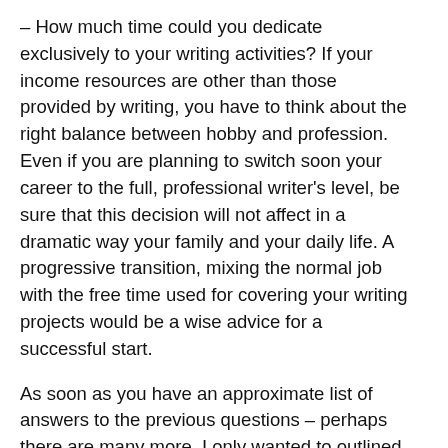– How much time could you dedicate exclusively to your writing activities? If your income resources are other than those provided by writing, you have to think about the right balance between hobby and profession. Even if you are planning to switch soon your career to the full, professional writer's level, be sure that this decision will not affect in a dramatic way your family and your daily life. A progressive transition, mixing the normal job with the free time used for covering your writing projects would be a wise advice for a successful start.
As soon as you have an approximate list of answers to the previous questions – perhaps there are many more, I only wanted to outlined some of the most important – try to make a draft plan of your day.
– When you feel the best prepare to write: early in the